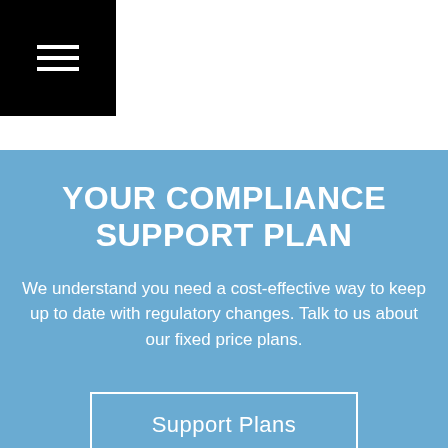YOUR COMPLIANCE SUPPORT PLAN
We understand you need a cost-effective way to keep up to date with regulatory changes. Talk to us about our fixed price plans.
Support Plans